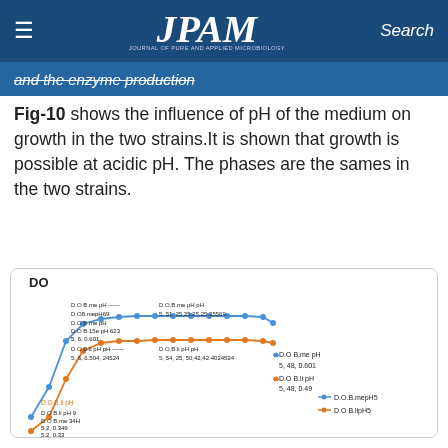JPAM — Journal of Pure and Applied Microbiology
and the enzyme production
Fig-10 shows the influence of pH of the medium on growth in the two strains.It is shown that growth is possible at acidic pH. The phases are the sames in the two strains.
[Figure (line-chart): Line chart showing D.O.B.me pH and D.O.B.li pH curves vs time at pH5, with data point labels including values such as 5,51; 5,48,0.601; 5,48,0.49; 5,6,0.601; 5,6,0.624524; 5,2,0.349; 5,2,0.33]